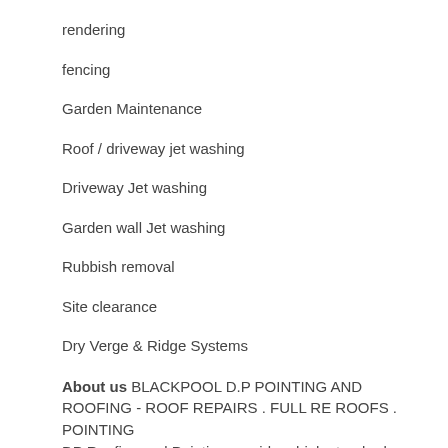rendering
fencing
Garden Maintenance
Roof / driveway jet washing
Driveway Jet washing
Garden wall Jet washing
Rubbish removal
Site clearance
Dry Verge & Ridge Systems
About us BLACKPOOL D.P POINTING AND ROOFING - ROOF REPAIRS . FULL RE ROOFS . POINTING
DP Roofing and Pointing provide a high standard